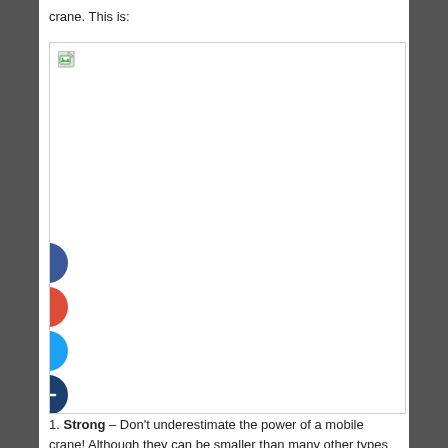crane. This is:
[Figure (photo): Broken/missing image placeholder showing a small broken image icon in the top-left corner of a white bordered box]
[Figure (infographic): Social sharing buttons: Facebook (dark blue circle with f), Google+ (red circle with g+), Twitter (light blue circle with bird), Add/Plus (dark blue circle with +)]
1. Strong – Don't underestimate the power of a mobile crane! Although they can be smaller than many other types